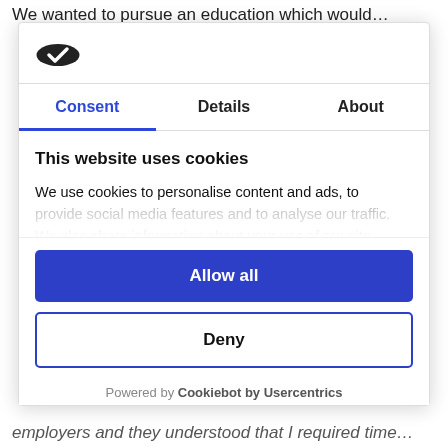We wanted to pursue an education which would…
[Figure (logo): Cookiebot/Usercentrics logo — dark oval with white checkmark]
Consent | Details | About
This website uses cookies
We use cookies to personalise content and ads, to provide social media features and to analyse our traffic. We also share information about your use of our site with our social media, advertising and analytics…
Allow all
Deny
Powered by Cookiebot by Usercentrics
employers and they understood that I required time…